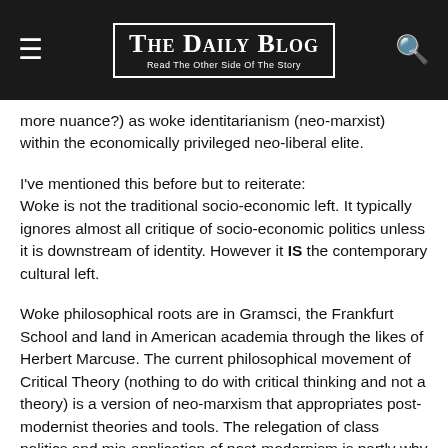The Daily Blog — Read The Other Side Of The Story
more nuance?) as woke identitarianism (neo-marxist) within the economically privileged neo-liberal elite.
I've mentioned this before but to reiterate:
Woke is not the traditional socio-economic left. It typically ignores almost all critique of socio-economic politics unless it is downstream of identity. However it IS the contemporary cultural left.
Woke philosophical roots are in Gramsci, the Frankfurt School and land in American academia through the likes of Herbert Marcuse. The current philosophical movement of Critical Theory (nothing to do with critical thinking and not a theory) is a version of neo-marxism that appropriates post-modernist theories and tools. The relegation of class politics and mis-application of post-modernism is partly why Woke is hated by marxists and some post-modernists. As it propagates from academia (rather than say worker unions) it is